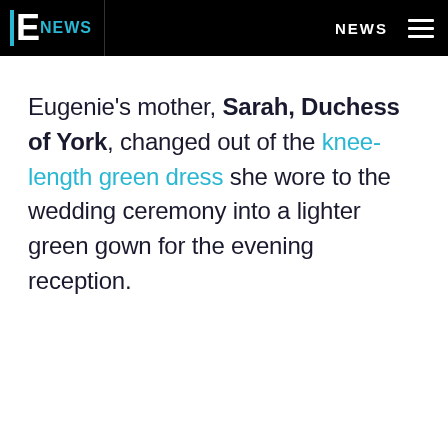E! NEWS  NEWS
Eugenie's mother, Sarah, Duchess of York, changed out of the knee-length green dress she wore to the wedding ceremony into a lighter green gown for the evening reception.